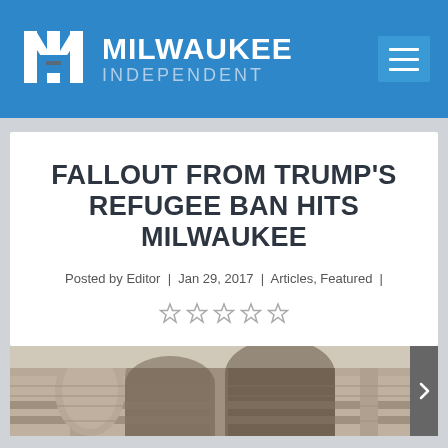Milwaukee Independent
FALLOUT FROM TRUMP'S REFUGEE BAN HITS MILWAUKEE
Posted by Editor | Jan 29, 2017 | Articles, Featured |
[Figure (photo): Exterior photograph of a historic building with ornate stonework and arched architectural details, viewed from below at an angle.]